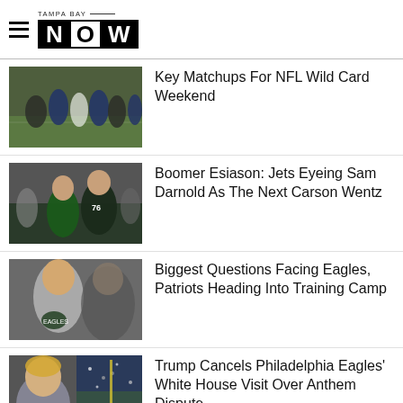TAMPA BAY NOW
[Figure (photo): NFL football players lined up at scrimmage]
Key Matchups For NFL Wild Card Weekend
[Figure (photo): Jets football players on field]
Boomer Esiason: Jets Eyeing Sam Darnold As The Next Carson Wentz
[Figure (photo): Eagles football player Carson Wentz]
Biggest Questions Facing Eagles, Patriots Heading Into Training Camp
[Figure (photo): Trump and Philadelphia Eagles crowd]
Trump Cancels Philadelphia Eagles' White House Visit Over Anthem Dispute